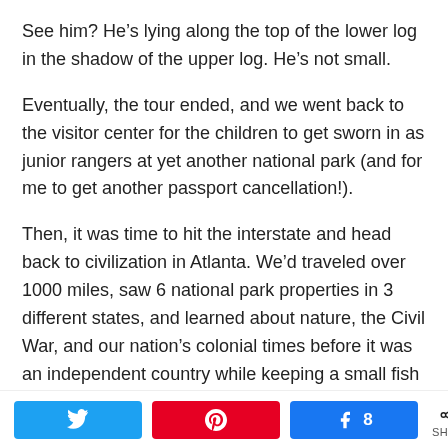See him?  He’s lying along the top of the lower log in the shadow of the upper log.  He’s not small.
Eventually, the tour ended, and we went back to the visitor center for the children to get sworn in as junior rangers at yet another national park (and for me to get another passport cancellation!).
Then, it was time to hit the interstate and head back to civilization in Atlanta.  We’d traveled over 1000 miles, saw 6 national park properties in 3 different states, and learned about nature, the Civil War, and our nation’s colonial times before it was an independent country while keeping a small fish alive and maintaining familial affections while in close quarters
[Figure (infographic): Social share bar with Twitter, Pinterest, and Facebook buttons, plus a share count of 8]